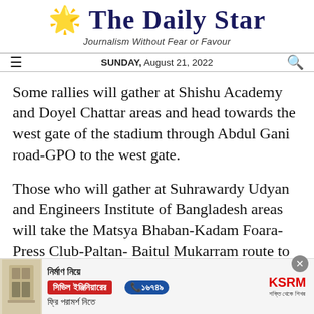The Daily Star
Journalism Without Fear or Favour
SUNDAY, August 21, 2022
Some rallies will gather at Shishu Academy and Doyel Chattar areas and head towards the west gate of the stadium through Abdul Gani road-GPO to the west gate.
Those who will gather at Suhrawardy Udyan and Engineers Institute of Bangladesh areas will take the Matsya Bhaban-Kadam Foara- Press Club-Paltan- Baitul Mukarram route to the north gate
[Figure (infographic): Advertisement banner for KSRM civil engineering consultation service in Bengali with red button, phone number 16749, and KSRM logo]